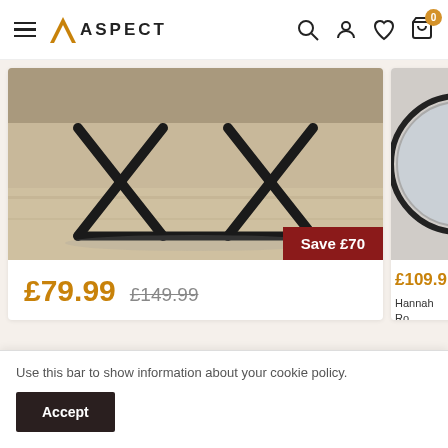Aspect — navigation header with logo, search, account, wishlist, cart (0)
[Figure (photo): Product photo of table metal cross-leg base, wood floor background, with 'Save £70' badge in dark red overlay]
£79.99  £149.99
Drys Square Solid Acacia Wood Side/End Table (Natural/Black)
Only 3 units left
[Figure (photo): Partial product photo on right side showing circular glass table top edge]
£109.9
Hannah Ro... 2 Tables, G...
Only 10
Use this bar to show information about your cookie policy.
Accept